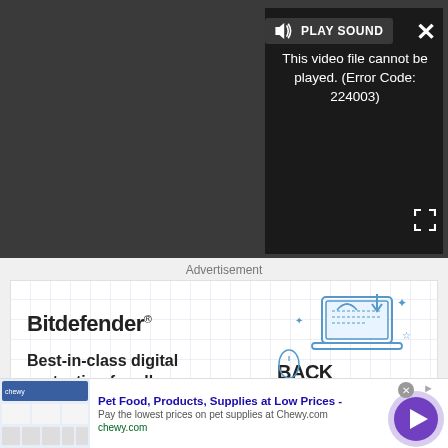[Figure (screenshot): Video player with dark grey background showing error message and PLAY SOUND button. Error text reads: 'This video file cannot be played. (Error Code: 224003)'. Close (X) button top right, fullscreen icon bottom right.]
Advertisement
[Figure (screenshot): Bitdefender Back to School advertisement. Shows 'Bitdefender' logo and 'Best-in-class digital protection for all your digital needs.' text on left. Back To School graphic with laptop illustration on right.]
[Figure (screenshot): Bottom banner ad for Chewy.com: 'Pet Food, Products, Supplies at Low Prices - Pay the lowest prices on pet supplies at Chewy.com' with chewy.com URL and purple arrow button.]